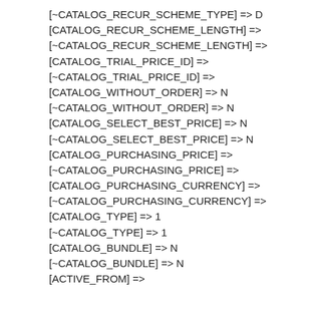[~CATALOG_RECUR_SCHEME_TYPE] => D
[CATALOG_RECUR_SCHEME_LENGTH] =>
[~CATALOG_RECUR_SCHEME_LENGTH] =>
[CATALOG_TRIAL_PRICE_ID] =>
[~CATALOG_TRIAL_PRICE_ID] =>
[CATALOG_WITHOUT_ORDER] => N
[~CATALOG_WITHOUT_ORDER] => N
[CATALOG_SELECT_BEST_PRICE] => N
[~CATALOG_SELECT_BEST_PRICE] => N
[CATALOG_PURCHASING_PRICE] =>
[~CATALOG_PURCHASING_PRICE] =>
[CATALOG_PURCHASING_CURRENCY] =>
[~CATALOG_PURCHASING_CURRENCY] =>
[CATALOG_TYPE] => 1
[~CATALOG_TYPE] => 1
[CATALOG_BUNDLE] => N
[~CATALOG_BUNDLE] => N
[ACTIVE_FROM] =>